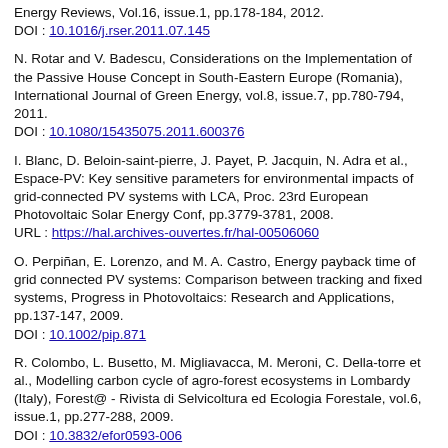Energy Reviews, Vol.16, issue.1, pp.178-184, 2012.
DOI : 10.1016/j.rser.2011.07.145
N. Rotar and V. Badescu, Considerations on the Implementation of the Passive House Concept in South-Eastern Europe (Romania), International Journal of Green Energy, vol.8, issue.7, pp.780-794, 2011.
DOI : 10.1080/15435075.2011.600376
I. Blanc, D. Beloin-saint-pierre, J. Payet, P. Jacquin, N. Adra et al., Espace-PV: Key sensitive parameters for environmental impacts of grid-connected PV systems with LCA, Proc. 23rd European Photovoltaic Solar Energy Conf, pp.3779-3781, 2008.
URL : https://hal.archives-ouvertes.fr/hal-00506060
O. Perpiñan, E. Lorenzo, and M. A. Castro, Energy payback time of grid connected PV systems: Comparison between tracking and fixed systems, Progress in Photovoltaics: Research and Applications, pp.137-147, 2009.
DOI : 10.1002/pip.871
R. Colombo, L. Busetto, M. Migliavacca, M. Meroni, C. Della-torre et al., Modelling carbon cycle of agro-forest ecosystems in Lombardy (Italy), Forest@ - Rivista di Selvicoltura ed Ecologia Forestale, vol.6, issue.1, pp.277-288, 2009.
DOI : 10.3832/efor0593-006